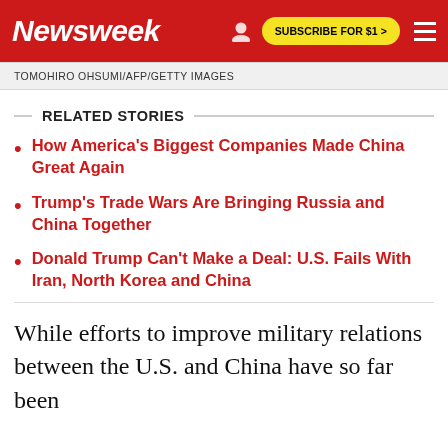Newsweek | SUBSCRIBE FOR $1 >
TOMOHIRO OHSUMI/AFP/GETTY IMAGES
RELATED STORIES
How America's Biggest Companies Made China Great Again
Trump's Trade Wars Are Bringing Russia and China Together
Donald Trump Can't Make a Deal: U.S. Fails With Iran, North Korea and China
While efforts to improve military relations between the U.S. and China have so far been